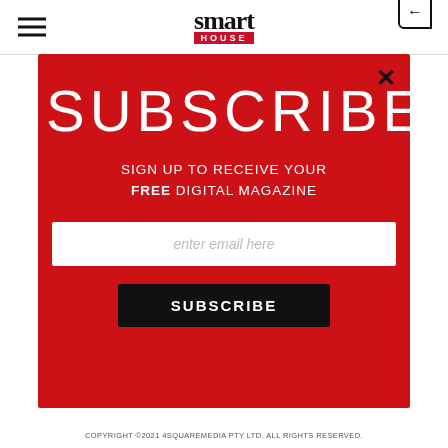smart HOUSE
[Figure (screenshot): Subscribe modal popup with red background on smarthousewebsite. Contains large SUBSCRIBE heading, 'SIGN UP TO RECEIVE YOUR FREE DIGITAL MAGAZINE' subheading, email input field, and SUBSCRIBE button.]
SUBSCRIBE
SIGN UP TO RECEIVE YOUR FREE DIGITAL MAGAZINE
enter email here
SUBSCRIBE
COPYRIGHT ©2021 4SQUAREMEDIA PTY LTD. ALL RIGHTS RESERVED.